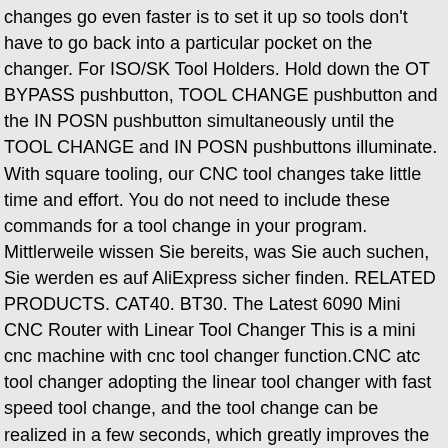changes go even faster is to set it up so tools don't have to go back into a particular pocket on the changer. For ISO/SK Tool Holders. Hold down the OT BYPASS pushbutton, TOOL CHANGE pushbutton and the IN POSN pushbutton simultaneously until the TOOL CHANGE and IN POSN pushbuttons illuminate. With square tooling, our CNC tool changes take little time and effort. You do not need to include these commands for a tool change in your program. Mittlerweile wissen Sie bereits, was Sie auch suchen, Sie werden es auf AliExpress sicher finden. RELATED PRODUCTS. CAT40. BT30. The Latest 6090 Mini CNC Router with Linear Tool Changer This is a mini cnc machine with cnc tool changer function.CNC atc tool changer adopting the linear tool changer with fast speed tool change, and the tool change can be realized in a few seconds, which greatly improves the production efficiency. Wir haben buchstäblich Tausende von großartigen Produkten in allen Produktkategorien. The Tool Change Attachment contains an integrated sealing air which prevents the ingress of dust into its bearing and extents the life of the product.